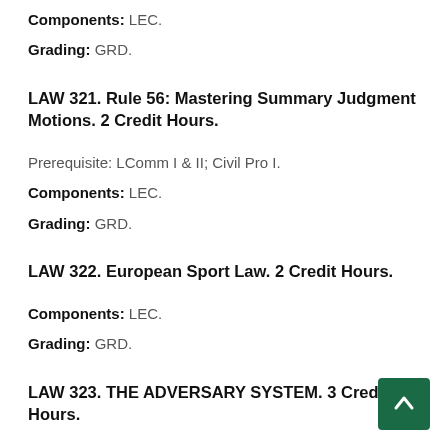Components: LEC.
Grading: GRD.
LAW 321. Rule 56: Mastering Summary Judgment Motions. 2 Credit Hours.
Prerequisite: LComm I & II; Civil Pro I.
Components: LEC.
Grading: GRD.
LAW 322. European Sport Law. 2 Credit Hours.
Components: LEC.
Grading: GRD.
LAW 323. THE ADVERSARY SYSTEM. 3 Credit Hours.